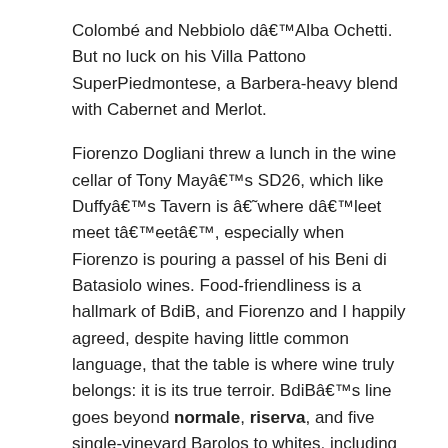Colombé and Nebbiolo d'Alba Ochetti. But no luck on his Villa Pattono SuperPiedmontese, a Barbera-heavy blend with Cabernet and Merlot.
Fiorenzo Dogliani threw a lunch in the wine cellar of Tony May's SD26, which like Duffy's Tavern is â€˜where d'leet meet t'eet', especially when Fiorenzo is pouring a passel of his Beni di Batasiolo wines. Food-friendliness is a hallmark of BdiB, and Fiorenzo and I happily agreed, despite having little common language, that the table is where wine truly belongs: it is its true terroir. BdiB's line goes beyond normale, riserva, and five single-vineyard Barolos to whites, including Roero and Gavi di Gavi; sparkling wines; and other soldiers marching in the Piedmont Parade.